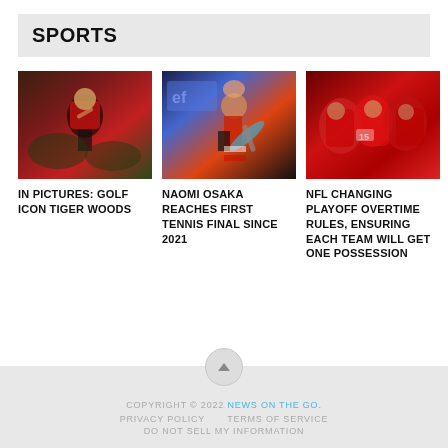SPORTS
[Figure (photo): Tiger Woods in red shirt celebrating on golf course]
IN PICTURES: GOLF ICON TIGER WOODS
[Figure (photo): Naomi Osaka swinging tennis racket wearing black and red outfit with cap]
NAOMI OSAKA REACHES FIRST TENNIS FINAL SINCE 2021
[Figure (photo): NFL Kansas City Chiefs players celebrating in red uniforms]
NFL CHANGING PLAYOFF OVERTIME RULES, ENSURING EACH TEAM WILL GET ONE POSSESSION
COPYRIGHT © 2022 NEWS ON THE GO. PRIVACY POLICY   TERMS OF SERVICE   DO NOT SELL MY INFORMATION